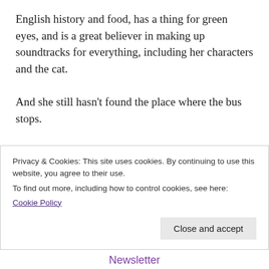English history and food, has a thing for green eyes, and is a great believer in making up soundtracks for everything, including her characters and the cat.
And she still hasn't found the place where the bus stops.
For questions and comments, not restricted to green eyes, bus stops or recipes for traditional English food, you can find Jackie Keswick in all the usual places.
Privacy & Cookies: This site uses cookies. By continuing to use this website, you agree to their use.
To find out more, including how to control cookies, see here:
Cookie Policy
Close and accept
Newsletter